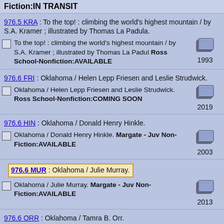Fiction:IN TRANSIT
976.5 KRA : To the top! : climbing the world's highest mountain / by S.A. Kramer ; illustrated by Thomas La Padula.
To the top! : climbing the world's highest mountain / by S.A. Kramer ; illustrated by Thomas La Padul Ross School-Nonfiction:AVAILABLE 1993
976.6 FRI : Oklahoma / Helen Lepp Friesen and Leslie Strudwick.
Oklahoma / Helen Lepp Friesen and Leslie Strudwick. Ross School-Nonfiction:COMING SOON 2019
976.6 HIN : Oklahoma / Donald Henry Hinkle.
Oklahoma / Donald Henry Hinkle. Margate - Juv Non-Fiction:AVAILABLE 2003
976.6 MUR : Oklahoma / Julie Murray.
Oklahoma / Julie Murray. Margate - Juv Non-Fiction:AVAILABLE 2013
976.6 ORR : Oklahoma / Tamra B. Orr.